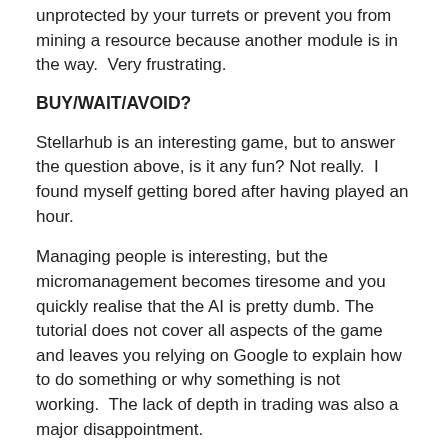unprotected by your turrets or prevent you from mining a resource because another module is in the way.  Very frustrating.
BUY/WAIT/AVOID?
Stellarhub is an interesting game, but to answer the question above, is it any fun? Not really.  I found myself getting bored after having played an hour.
Managing people is interesting, but the micromanagement becomes tiresome and you quickly realise that the AI is pretty dumb. The tutorial does not cover all aspects of the game and leaves you relying on Google to explain how to do something or why something is not working.  The lack of depth in trading was also a major disappointment.
It feels like Stellarhub would have benefited from